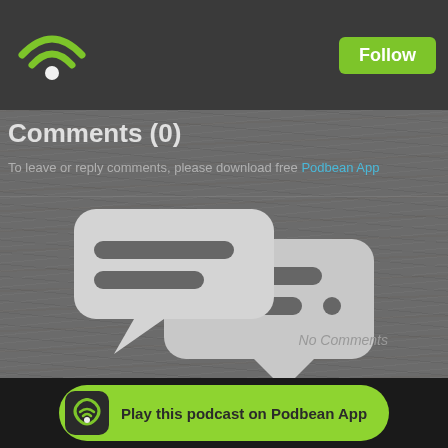[Figure (logo): Podbean wifi/podcast logo icon in green at top left of dark header bar]
Follow
Comments (0)
To leave or reply comments, please download free Podbean App
[Figure (illustration): Two overlapping speech/comment bubble icons in light gray on wood-textured dark gray background]
No Comments
Play this podcast on Podbean App